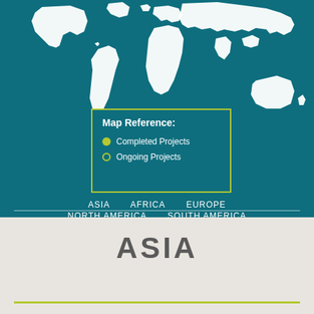[Figure (map): World map silhouette in white on teal background showing continents including Americas, Europe, Africa, Asia, and Australia]
Map Reference:
Completed Projects
Ongoing Projects
ASIA   AFRICA   EUROPE
NORTH AMERICA   SOUTH AMERICA
ASIA